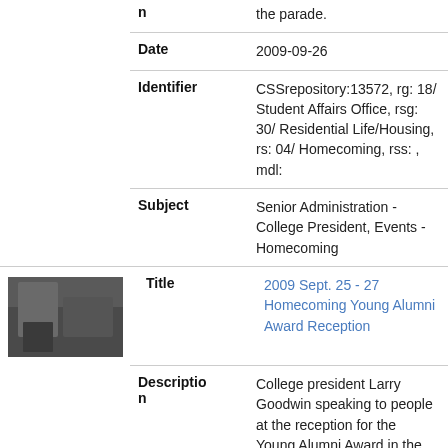| Field | Value |
| --- | --- |
| n (continuation) | the parade. |
| Date | 2009-09-26 |
| Identifier | CSSrepository:13572, rg: 18/ Student Affairs Office, rsg: 30/ Residential Life/Housing, rs: 04/ Homecoming, rss: , mdl: |
| Subject | Senior Administration -College President, Events -Homecoming |
| Title | 2009 Sept. 25 - 27 Homecoming Young Alumni Award Reception |
| Description | College president Larry Goodwin speaking to people at the reception for the Young Alumni Award in the Greenview Dining Room. |
| Date | 2009-09-26 |